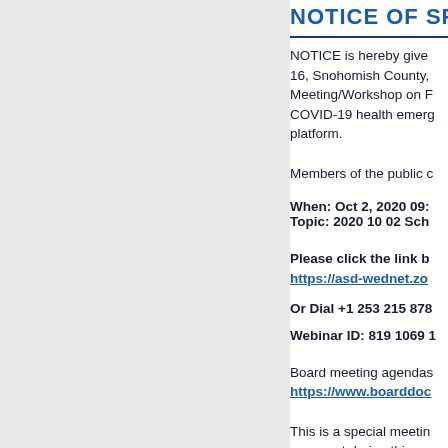NOTICE OF SPECIA…
NOTICE is hereby given that the Arlington School District No. 16, Snohomish County, Washington will hold a Special Board Meeting/Workshop on … COVID-19 health emergency … platform.
Members of the public c…
When: Oct 2, 2020 09:… Topic: 2020 10 02 Sch…
Please click the link b… https://asd-wednet.zo…
Or Dial +1 253 215 878…
Webinar ID: 819 1069 …
Board meeting agendas… https://www.boarddoc…
This is a special meetin… comment during this me… General comments to th…